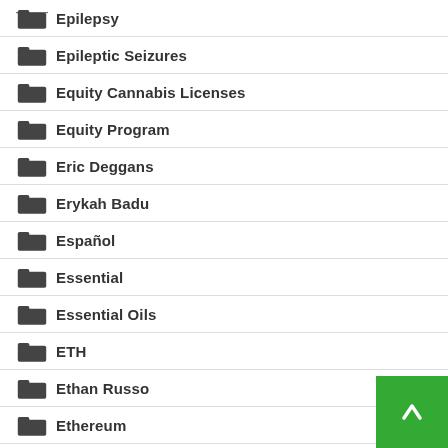Epilepsy
Epileptic Seizures
Equity Cannabis Licenses
Equity Program
Eric Deggans
Erykah Badu
Español
Essential
Essential Oils
ETH
Ethan Russo
Ethereum
Ethics